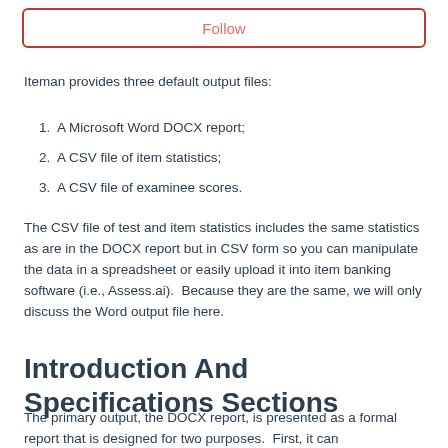Follow
Iteman provides three default output files:
1. A Microsoft Word DOCX report;
2. A CSV file of item statistics;
3. A CSV file of examinee scores.
The CSV file of test and item statistics includes the same statistics as are in the DOCX report but in CSV form so you can manipulate the data in a spreadsheet or easily upload it into item banking software (i.e., Assess.ai).  Because they are the same, we will only discuss the Word output file here.
Introduction And Specifications Sections
The primary output, the DOCX report, is presented as a formal report that is designed for two purposes.  First, it can